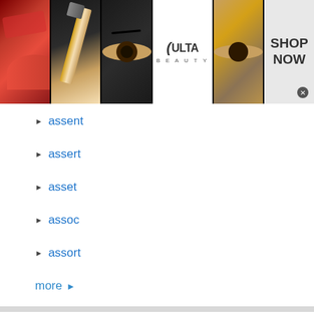[Figure (infographic): ULTA Beauty advertisement banner with makeup photos (lips, brush, eye, ULTA logo, eye close-up) and SHOP NOW button]
assent
assert
asset
assoc
assort
more ▶
Privacy Policy
© 2011-2022 DomainOptions, Inc. Trademarks belong to their respective owners. All rights reserved.
[Figure (infographic): Bloomingdale's advertisement banner with logo, 'View Today's Top Deals!', woman with hat image, and SHOP NOW button]